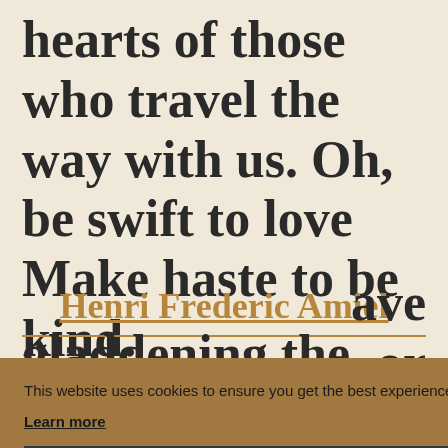hearts of those who travel the way with us. Oh, be swift to love Make haste to be kind.
Henri Frederic Amiel
This website uses cookies to ensure you get the best experience on our website.
Learn more
Got it!
ave or gladdening the hearts of